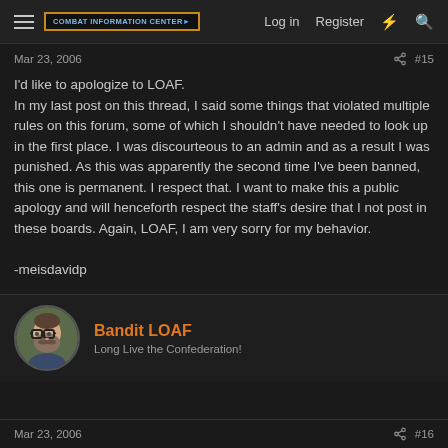COMBAT INFORMATION CENTER   Log in   Register
Mar 23, 2006   #15
I'd like to apologize to LOAF.
In my last post on this thread, I said some things that violated multiple rules on this forum, some of which I shouldn't have needed to look up in the first place. I was discourteous to an admin and as a result I was punished. As this was apparently the second time I've been banned, this one is permanent. I respect that. I want to make this a public apology and will henceforth respect the staff's desire that I not post in these boards. Again, LOAF, I am very sorry for my behavior.

-meisdavidp
[Figure (illustration): User avatar of Bandit LOAF: cartoon illustration of a bearded man with glasses]
Bandit LOAF
Long Live the Confederation!
Mar 23, 2006   #16